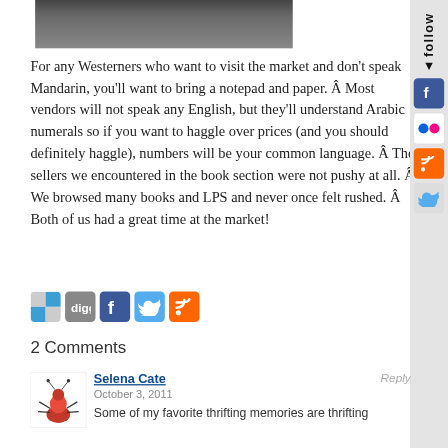[Figure (photo): Top of a photo partially visible, showing a market scene in dim/dark tones]
For any Westerners who want to visit the market and don't speak Mandarin, you'll want to bring a notepad and paper. Â Most vendors will not speak any English, but they'll understand Arabic numerals so if you want to haggle over prices (and you should definitely haggle), numbers will be your common language. Â The sellers we encountered in the book section were not pushy at all. Â We browsed many books and LPS and never once felt rushed. Â Both of us had a great time at the market!
[Figure (infographic): Social share icons row: checkmark/share, Digg, Facebook, Twitter, RSS feed]
2 Comments
[Figure (illustration): Comment avatar showing a cartoon ant/bug character in pink]
Selena Cate
October 3, 2011
Some of my favorite thrifting memories are thrifting